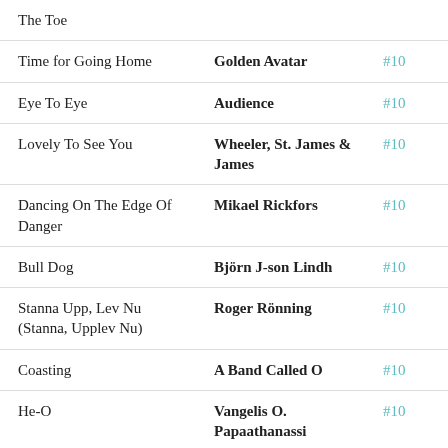| Song | Artist | Rank |
| --- | --- | --- |
| The Toe |  |  |
| Time for Going Home | Golden Avatar | #10 |
| Eye To Eye | Audience | #10 |
| Lovely To See You | Wheeler, St. James & James | #10 |
| Dancing On The Edge Of Danger | Mikael Rickfors | #10 |
| Bull Dog | Björn J-son Lindh | #10 |
| Stanna Upp, Lev Nu (Stanna, Upplev Nu) | Roger Rönning | #10 |
| Coasting | A Band Called O | #10 |
| He-O | Vangelis O. Papaathanassi | #10 |